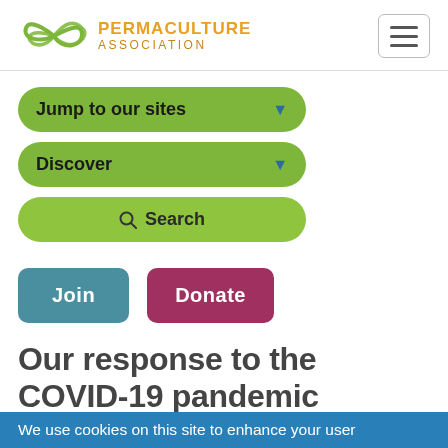[Figure (logo): Permaculture Association logo with infinity symbol in green and text PERMACULTURE ASSOCIATION in gold/orange]
[Figure (other): Hamburger menu button (three horizontal lines) in a rounded rectangle border]
Jump to our sites ▼
Discover ▼
🔍 Search
Join
Donate
Our response to the COVID-19 pandemic
First of all, I hope you are keeping well.
We use cookies on this site to enhance your user